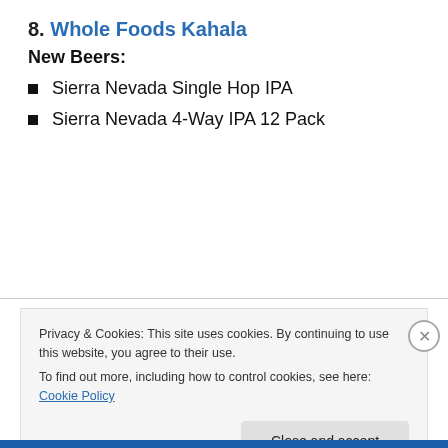8. Whole Foods Kahala
New Beers:
Sierra Nevada Single Hop IPA
Sierra Nevada 4-Way IPA 12 Pack
Privacy & Cookies: This site uses cookies. By continuing to use this website, you agree to their use.
To find out more, including how to control cookies, see here: Cookie Policy